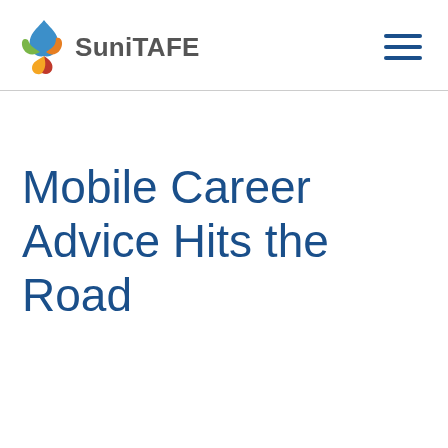[Figure (logo): SuniTAFE logo with colorful leaf/flame icon and grey text]
Mobile Career Advice Hits the Road